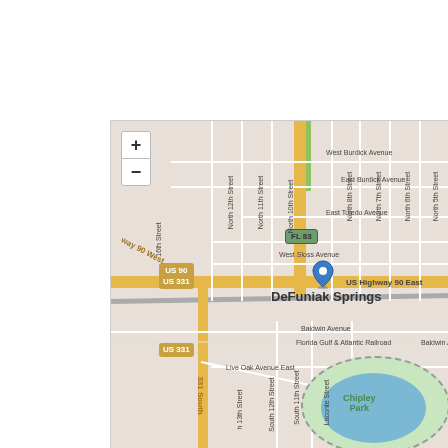[Figure (map): Street map of DeFuniak Springs, Florida centered on US Highway 90 East and US 331 intersection. Shows Chipley Park with lake in the lower right, Florida Gulf & Atlantic Railroad, and a blue location pin marking the city center. Map includes zoom controls (+/-), route shields for US 90, US 331, FL 83, and various street labels. Attribution: Leaflet | © OpenStreetMap contributors.]